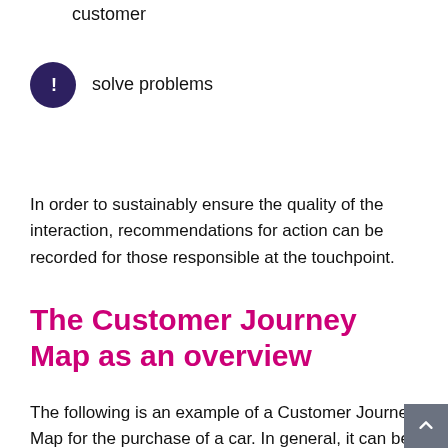customer
solve problems
In order to sustainably ensure the quality of the interaction, recommendations for action can be recorded for those responsible at the touchpoint.
The Customer Journey Map as an overview
The following is an example of a Customer Journey Map for the purchase of a car. In general, it can be assumed that the decision and deployment phase for products in